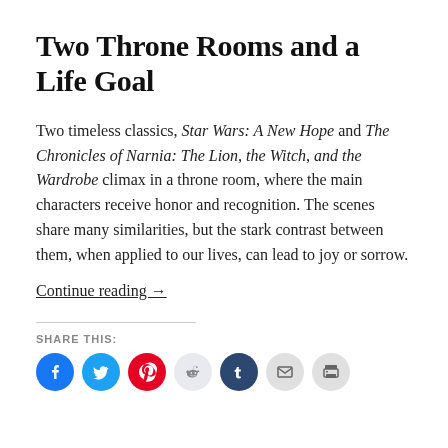Two Throne Rooms and a Life Goal
Two timeless classics, Star Wars: A New Hope and The Chronicles of Narnia: The Lion, the Witch, and the Wardrobe climax in a throne room, where the main characters receive honor and recognition. The scenes share many similarities, but the stark contrast between them, when applied to our lives, can lead to joy or sorrow.
Continue reading →
SHARE THIS:
[Figure (other): Social sharing icons: Facebook, Twitter, Pinterest, Reddit, Tumblr, Email, Print]